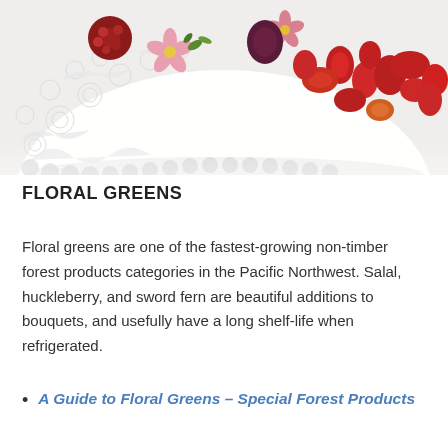[Figure (photo): A decorative white lace plate/doily with assorted colorful berries and small pink flowers arranged on top. Berries include red, orange, and dark purple varieties.]
FLORAL GREENS
Floral greens are one of the fastest-growing non-timber forest products categories in the Pacific Northwest. Salal, huckleberry, and sword fern are beautiful additions to bouquets, and usefully have a long shelf-life when refrigerated.
A Guide to Floral Greens – Special Forest Products